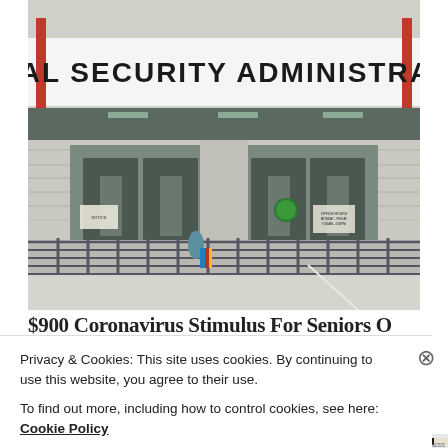[Figure (photo): Exterior photograph of a Social Security Administration office building. The building has a prominent white sign with bold black letters reading 'SOCIAL SECURITY ADMINISTRATION'. The entrance features glass doors with metal railings forming a ramp/walkway in front. A person with a colorful bag is visible near the entrance. The building facade is light grey textured stone.]
$900 C... Stimulus For Seniors O...
Privacy & Cookies: This site uses cookies. By continuing to use this website, you agree to their use.
To find out more, including how to control cookies, see here: Cookie Policy
Close and accept